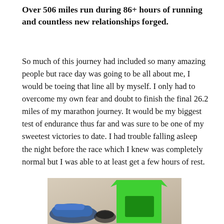Over 506 miles run during 86+ hours of running and countless new relationships forged.
So much of this journey had included so many amazing people but race day was going to be all about me, I would be toeing that line all by myself. I only had to overcome my own fear and doubt to finish the final 26.2 miles of my marathon journey. It would be my biggest test of endurance thus far and was sure to be one of my sweetest victories to date. I had trouble falling asleep the night before the race which I knew was completely normal but I was able to at least get a few hours of rest.
[Figure (photo): Photo of running gear laid out flat: a bright green athletic shirt with a dark logo, running shoes (blue/teal), and what appears to be additional running accessories, all on a light wrinkled fabric background.]